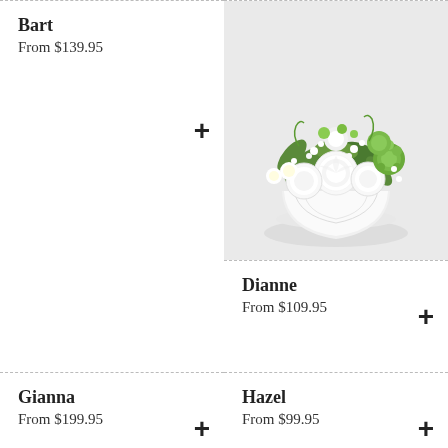Bart
From $139.95
[Figure (photo): Floral arrangement of white carnations, green mums and white daisies in a white scalloped bowl on a white saucer, with greenery and small white fillers, on a light grey background.]
Dianne
From $109.95
Gianna
From $199.95
Hazel
From $99.95
Seduction
Katie